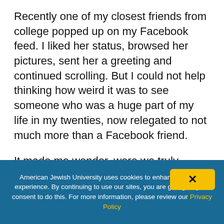Recently one of my closest friends from college popped up on my Facebook feed. I liked her status, browsed her pictures, sent her a greeting and continued scrolling. But I could not help thinking how weird it was to see someone who was a huge part of my life in my twenties, now relegated to not much more than a Facebook friend.
It made me wonder, were we truly friends? Or was it just convenience, proximity or something else entirely?
American Jewish University uses cookies to enhance the user experience. By continuing to use our sites, you are giving us your consent to do this. For more information, please review our Privacy Policy